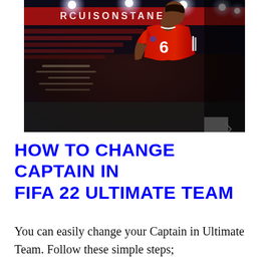[Figure (photo): A FIFA 22 video game screenshot showing a football player wearing a red Manchester United jersey with number 6, standing on a pitch inside a stadium with floodlights and red stands visible in the background.]
HOW TO CHANGE CAPTAIN IN FIFA 22 ULTIMATE TEAM
You can easily change your Captain in Ultimate Team. Follow these simple steps;